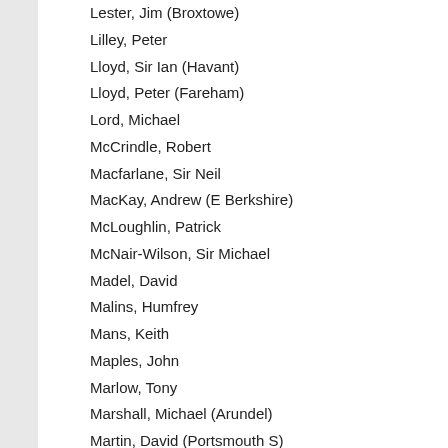Lester, Jim (Broxtowe)
Lilley, Peter
Lloyd, Sir Ian (Havant)
Lloyd, Peter (Fareham)
Lord, Michael
McCrindle, Robert
Macfarlane, Sir Neil
MacKay, Andrew (E Berkshire)
McLoughlin, Patrick
McNair-Wilson, Sir Michael
Madel, David
Malins, Humfrey
Mans, Keith
Maples, John
Marlow, Tony
Marshall, Michael (Arundel)
Martin, David (Portsmouth S)